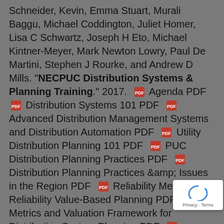Schneider, Kevin, Emma Stuart, Murali Baggu, Michael Coddington, Juliet Homer, Lisa C Schwartz, Joseph H Eto, Michael Kintner-Meyer, Mark Newton Lowry, Paul De Martini, Stephen J Rourke, and Andrew D Mills. "NECPUC Distribution Systems & Planning Training." 2017. [PDF] Agenda PDF [PDF] Distribution Systems 101 PDF [PDF] Advanced Distribution Management Systems and Distribution Automation PDF [PDF] Utility Distribution Planning 101 PDF [PDF] PUC Distribution Planning Practices PDF [PDF] Distribution Planning Practices & Issues in the Region PDF [PDF] Reliability Metrics and Reliability Value-Based Planning PDF [PDF] Metrics and Valuation Framework for Distribution System Planning PDF [PDF] Regulation of Modernizing Power Distributors: Lessons From Research on Performance-Based Regulation PDF [PDF] Data and Analytics for Distribution PDF [PDF] Data and Analytics Extra Info: GMLC Sensor Measurement Roadmapping Activity PDF [PDF] Next Generation Distribution System Platform (DSPx) PDF [PDF]
[Figure (other): reCAPTCHA privacy badge with rotating arrows icon and 'Privacy - Terms' text]